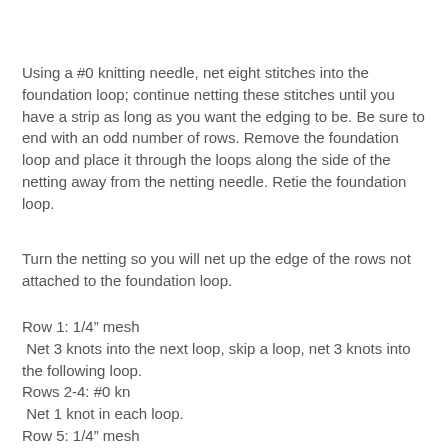Using a #0 knitting needle, net eight stitches into the foundation loop; continue netting these stitches until you have a strip as long as you want the edging to be. Be sure to end with an odd number of rows. Remove the foundation loop and place it through the loops along the side of the netting away from the netting needle. Retie the foundation loop.
Turn the netting so you will net up the edge of the rows not attached to the foundation loop.
Row 1: 1/4" mesh
 Net 3 knots into the next loop, skip a loop, net 3 knots into the following loop.
Rows 2-4: #0 kn
 Net 1 knot in each loop.
Row 5: 1/4" mesh
 Net 1 knot in each loop.
Row 6: #3 kn